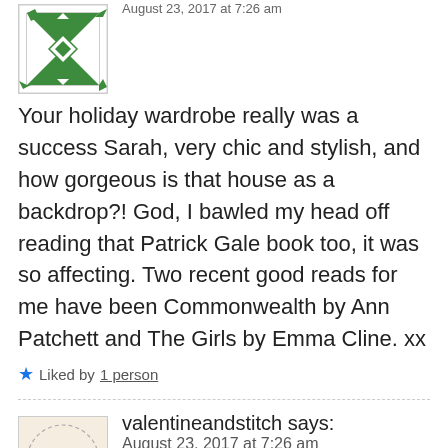[Figure (illustration): Green and white quilt-pattern avatar icon with diamond/star geometric design, square with border]
August 23, 2017 at 7:26 am
Your holiday wardrobe really was a success Sarah, very chic and stylish, and how gorgeous is that house as a backdrop?! God, I bawled my head off reading that Patrick Gale book too, it was so affecting. Two recent good reads for me have been Commonwealth by Ann Patchett and The Girls by Emma Cline. xx
Liked by 1 person
[Figure (illustration): Circular logo/avatar for valentineandstitch on a light beige background with script text]
valentineandstitch says:
August 23, 2017 at 7:26 am